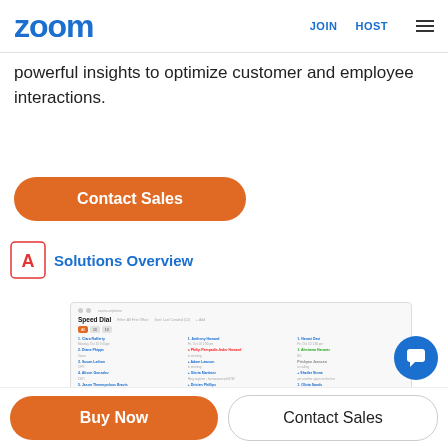zoom  JOIN  HOST
powerful insights to optimize customer and employee interactions.
Contact Sales
Solutions Overview
[Figure (screenshot): Zoom application interface showing Speed Dial contacts list in three columns, with contact names, details, and a Real-time Analytics panel below.]
Buy Now
Contact Sales